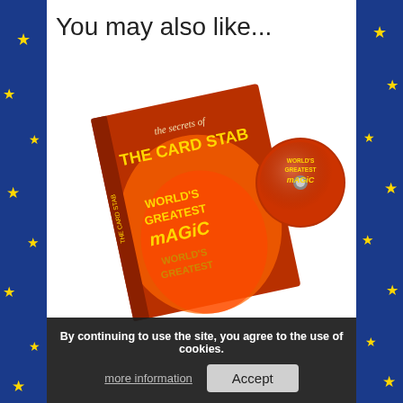You may also like...
[Figure (photo): DVD product image showing 'The Secrets of The Card Stab - World's Greatest Magic' DVD case and disc on a white background]
By continuing to use the site, you agree to the use of cookies.
more information
Accept